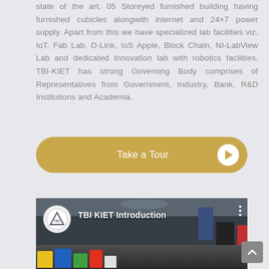state of the art, 05 Storeyed furnished building having furnished cubicles alongwith internet and 24×7 power supply. Apart from this we have specialized lab facilities viz. IoT, Fab Lab, D-Link, IoS Apple, Block Chain, NI-LabView Lab and dedicated Innovation lab with robotics facilities. TBI-KIET has strong Governing Body comprises of Representatives from Government, Industry, Bank, R&D Institutions and Academia.
[Figure (other): Gold/tan rounded button with text 'Take a Tour' and a white circular play button icon on the right]
[Figure (screenshot): YouTube-style video thumbnail showing 'TBI KIET Introduction' with a logo circle on the left, three-dot menu on the right, and colorful equipment visible at the bottom of the frame]